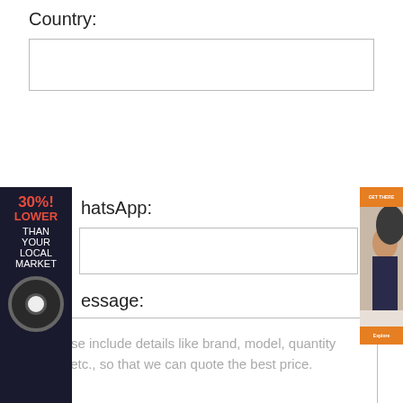Country:
WhatsApp:
Message:
Please include details like brand, model, quantity and etc., so that we can quote the best price.
SUBMIT
Bearing Links
NACHI 7204AC bearing
KOYO NN3044 bearing
[Figure (infographic): Sidebar advertisement: dark background with '30% LOWER THAN YOUR LOCAL MARKET' text in red and white, with a bearing circle graphic at bottom]
[Figure (photo): Top-right advertisement with woman's face and orange banner]
[Figure (infographic): Blue contact button with chat icon and 'contact' text]